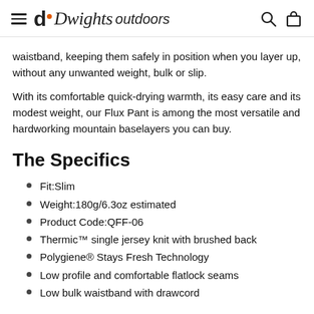Dwights outdoors
waistband, keeping them safely in position when you layer up, without any unwanted weight, bulk or slip.
With its comfortable quick-drying warmth, its easy care and its modest weight, our Flux Pant is among the most versatile and hardworking mountain baselayers you can buy.
The Specifics
Fit:Slim
Weight:180g/6.3oz estimated
Product Code:QFF-06
Thermic™ single jersey knit with brushed back
Polygiene® Stays Fresh Technology
Low profile and comfortable flatlock seams
Low bulk waistband with drawcord